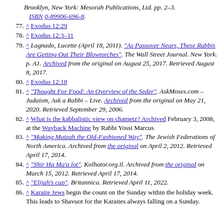(continuation) Brooklyn, New York: Mesorah Publications, Ltd. pp. 2–3. ISBN 0-89906-696-8.
77. ^ Exodus 12:29
78. ^ Exodus 12:3–11
79. ^ Lagnado, Lucette (April 18, 2011). "As Passover Nears, These Rabbis Are Getting Out Their Blowtorches". The Wall Street Journal. New York. p. A1. Archived from the original on August 25, 2017. Retrieved August 8, 2017.
80. ^ Exodus 12:18
81. ^ "Thought For Food: An Overview of the Seder". AskMoses.com – Judaism, Ask a Rabbi – Live. Archived from the original on May 21, 2020. Retrieved September 29, 2006.
82. ^ What is the kabbalistic view on chametz? Archived February 3, 2008, at the Wayback Machine by Rabbi Yossi Marcus
83. ^ "Making Matzah the Old-Fashioned Way". The Jewish Federations of North America. Archived from the original on April 2, 2012. Retrieved April 17, 2014.
84. ^ "Shir Ha Ma'a lot". Kolhator.org.il. Archived from the original on March 15, 2012. Retrieved April 17, 2014.
85. ^ "Elijah's cup". Britannica. Retrieved April 11, 2022.
86. ^ Karaite Jews begin the count on the Sunday within the holiday week. This leads to Shavuot for the Karaites always falling on a Sunday.